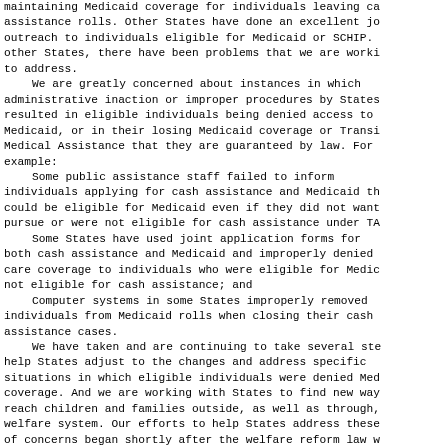maintaining Medicaid coverage for individuals leaving cash assistance rolls. Other States have done an excellent job of outreach to individuals eligible for Medicaid or SCHIP. In other States, there have been problems that we are working to address.
    We are greatly concerned about instances in which administrative inaction or improper procedures by States resulted in eligible individuals being denied access to Medicaid, or in their losing Medicaid coverage or Transitional Medical Assistance that they are guaranteed by law. For example:
    Some public assistance staff failed to inform individuals applying for cash assistance and Medicaid that they could be eligible for Medicaid even if they did not want to pursue or were not eligible for cash assistance under TANF.
    Some States have used joint application forms for both cash assistance and Medicaid and improperly denied health care coverage to individuals who were eligible for Medicaid but not eligible for cash assistance; and
    Computer systems in some States improperly removed individuals from Medicaid rolls when closing their cash assistance cases.
    We have taken and are continuing to take several steps to help States adjust to the changes and address specific situations in which eligible individuals were denied Medicaid coverage. And we are working with States to find new ways to reach children and families outside, as well as through, the welfare system. Our efforts to help States address these kinds of concerns began shortly after the welfare reform law was enacted.
    In 1997 and 1998, we sent a series of letters to